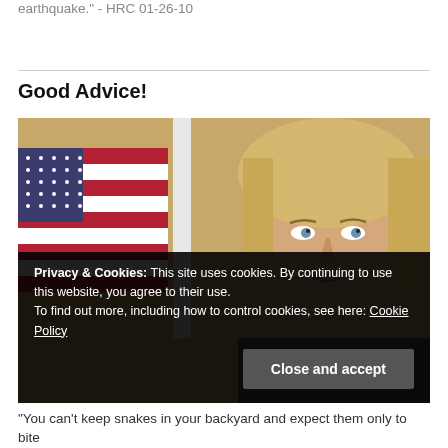conditions after the earthquake." - HRC 01-26-10
Good Advice!
[Figure (photo): Close-up photo of a woman with blonde hair in front of an American flag with a dark cookie consent banner overlay at the bottom]
Privacy & Cookies: This site uses cookies. By continuing to use this website, you agree to their use. To find out more, including how to control cookies, see here: Cookie Policy
"You can't keep snakes in your backyard and expect them only to bite